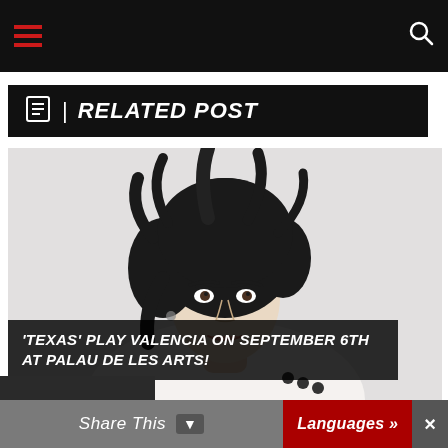Navigation bar with hamburger menu and search icon
RELATED POST
[Figure (photo): Woman with short dark tousled hair wearing a white top with buttons at the shoulder, photographed against a white/light gray background, mouth slightly open]
'TEXAS' PLAY VALENCIA ON SEPTEMBER 6th AT PALAU DE LES ARTS!
Share This  Languages »  ×